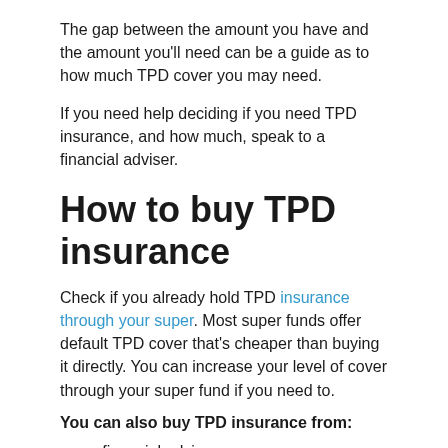The gap between the amount you have and the amount you'll need can be a guide as to how much TPD cover you may need.
If you need help deciding if you need TPD insurance, and how much, speak to a financial adviser.
How to buy TPD insurance
Check if you already hold TPD insurance through your super. Most super funds offer default TPD cover that's cheaper than buying it directly. You can increase your level of cover through your super fund if you need to.
You can also buy TPD insurance from:
a financial adviser